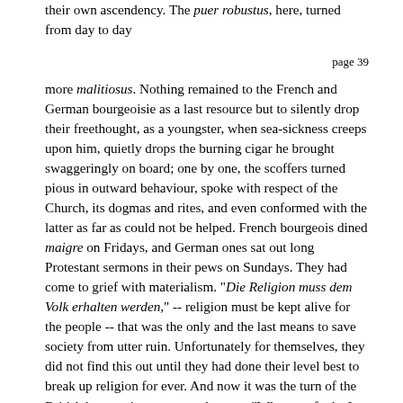their own ascendency. The puer robustus, here, turned from day to day
page 39
more malitiosus. Nothing remained to the French and German bourgeoisie as a last resource but to silently drop their freethought, as a youngster, when sea-sickness creeps upon him, quietly drops the burning cigar he brought swaggeringly on board; one by one, the scoffers turned pious in outward behaviour, spoke with respect of the Church, its dogmas and rites, and even conformed with the latter as far as could not be helped. French bourgeois dined maigre on Fridays, and German ones sat out long Protestant sermons in their pews on Sundays. They had come to grief with materialism. "Die Religion muss dem Volk erhalten werden," -- religion must be kept alive for the people -- that was the only and the last means to save society from utter ruin. Unfortunately for themselves, they did not find this out until they had done their level best to break up religion for ever. And now it was the turn of the British bourgeois to sneer and to say: "Why, you fools, I could have told you that two hundred years ago!"
However, I am afraid neither the religious stolidity of the British, nor the post festum * conversion of the Continental